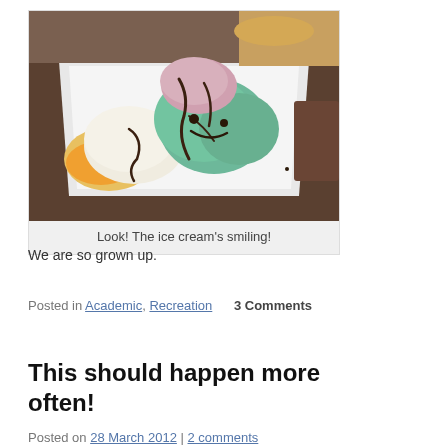[Figure (photo): A white square bowl containing multiple scoops of ice cream in various colors (pink, green/teal, white/vanilla, orange), drizzled with chocolate sauce, on a table setting]
Look! The ice cream's smiling!
We are so grown up.
Posted in Academic, Recreation   3 Comments
This should happen more often!
Posted on 28 March 2012 | 2 comments